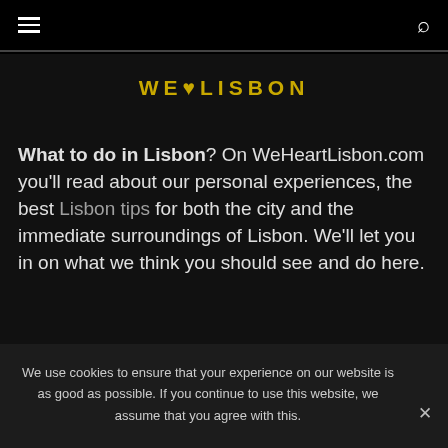≡  [navigation]  [search icon]
WE♥LISBON
What to do in Lisbon? On WeHeartLisbon.com you'll read about our personal experiences, the best Lisbon tips for both the city and the immediate surroundings of Lisbon. We'll let you in on what we think you should see and do here.
We use cookies to ensure that your experience on our website is as good as possible. If you continue to use this website, we assume that you agree with this.